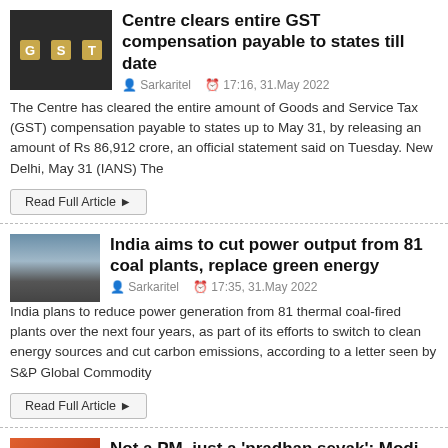Centre clears entire GST compensation payable to states till date
Sarkaritel   19:16, 31.May 2022
The Centre has cleared the entire amount of Goods and Service Tax (GST) compensation payable to states up to May 31, by releasing an amount of Rs 86,912 crore, an official statement said on Tuesday. New Delhi, May 31 (IANS) The
India aims to cut power output from 81 coal plants, replace green energy
Sarkaritel   17:35, 31.May 2022
India plans to reduce power generation from 81 thermal coal-fired plants over the next four years, as part of its efforts to switch to clean energy sources and cut carbon emissions, according to a letter seen by S&P Global Commodity
Not a PM, just a 'pradhan sevak': Modi